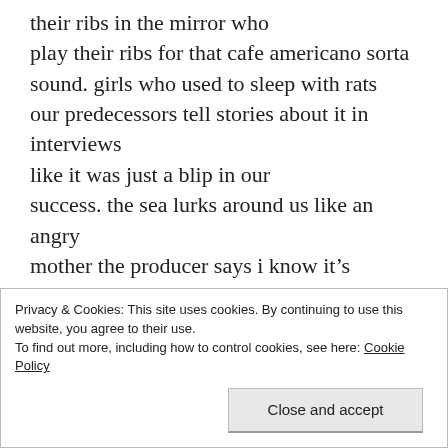their ribs in the mirror who play their ribs for that cafe americano sorta sound. girls who used to sleep with rats our predecessors tell stories about it in interviews like it was just a blip in our success. the sea lurks around us like an angry mother the producer says i know it’s generic but we need to improve the numbers. if i wrote the track it would only be a howl it would be a camera slitted in a bathroom stall it would be rape it would be a slab of meat.
Privacy & Cookies: This site uses cookies. By continuing to use this website, you agree to their use.
To find out more, including how to control cookies, see here: Cookie Policy